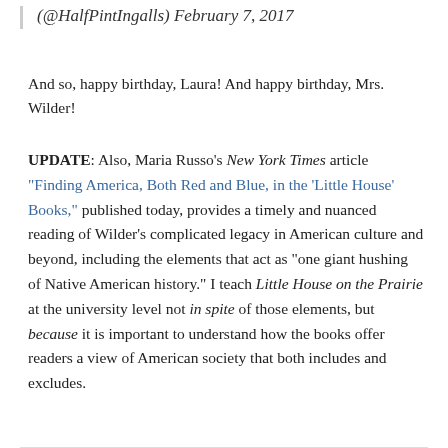(@HalfPintIngalls) February 7, 2017
And so, happy birthday, Laura! And happy birthday, Mrs. Wilder!
UPDATE: Also, Maria Russo's New York Times article “Finding America, Both Red and Blue, in the ‘Little House’ Books,” published today, provides a timely and nuanced reading of Wilder’s complicated legacy in American culture and beyond, including the elements that act as “one giant hushing of Native American history.” I teach Little House on the Prairie at the university level not in spite of those elements, but because it is important to understand how the books offer readers a view of American society that both includes and excludes.